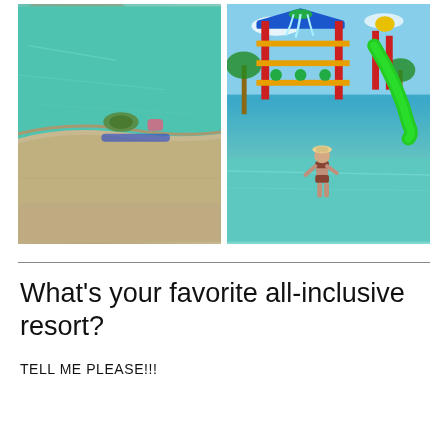[Figure (photo): Two children swimming in a pool near the edge, viewed from above. Turquoise water, beige/concrete pool deck visible.]
[Figure (photo): Colorful water park play structure with blue, red, yellow, and green elements. A woman in a bikini stands in shallow water below the structure. Green slide visible on the right.]
What's your favorite all-inclusive resort?
TELL ME PLEASE!!!